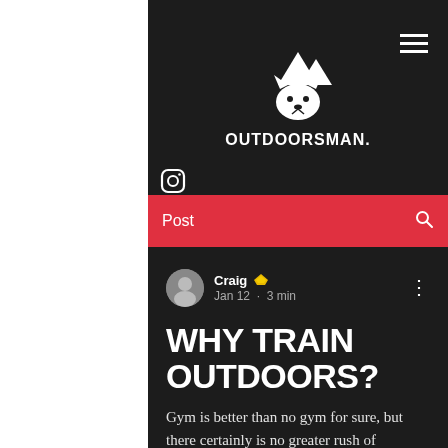[Figure (logo): Outdoorsman brand logo: wolf/fox head with mountain peaks, white on dark background, text 'OUTDOORSMAN.' below]
Post
Craig  Jan 12 · 3 min
WHY TRAIN OUTDOORS?
Gym is better than no gym for sure, but there certainly is no greater rush of endorphins or sense of